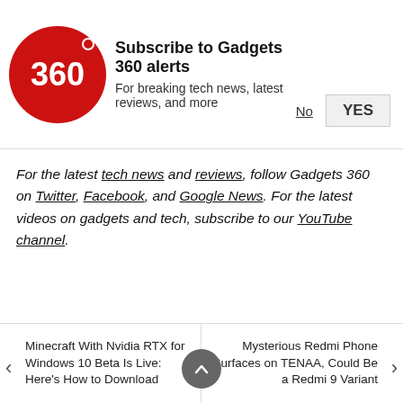[Figure (logo): Gadgets 360 red circle logo with '360' text]
Subscribe to Gadgets 360 alerts
For breaking tech news, latest reviews, and more
No   YES
For the latest tech news and reviews, follow Gadgets 360 on Twitter, Facebook, and Google News. For the latest videos on gadgets and tech, subscribe to our YouTube channel.
Further reading: Motorola, Motorola Edge, Motorola Edge Plus, Motorola Edge specifications, Motorola Ed
[Figure (infographic): Social sharing icons: WhatsApp (green), Facebook (blue), Twitter (light blue)]
[Figure (screenshot): Black video overlay with red YouTube play button]
Minecraft With Nvidia RTX for Windows 10 Beta Is Live: Here's How to Download
Mysterious Redmi Phone Surfaces on TENAA, Could Be a Redmi 9 Variant